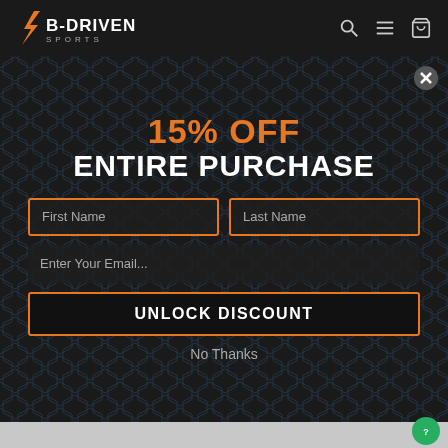B-DRIVEN SPORTS
15% OFF ENTIRE PURCHASE
First Name | Last Name | Enter Your Email...
UNLOCK DISCOUNT
No Thanks